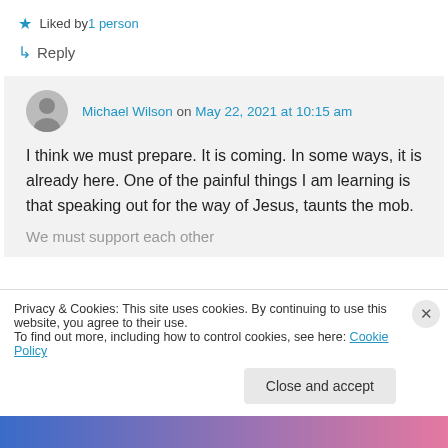★ Liked by 1 person
↳ Reply
Michael Wilson on May 22, 2021 at 10:15 am
I think we must prepare. It is coming. In some ways, it is already here. One of the painful things I am learning is that speaking out for the way of Jesus, taunts the mob.
We must support each other
Privacy & Cookies: This site uses cookies. By continuing to use this website, you agree to their use.
To find out more, including how to control cookies, see here: Cookie Policy